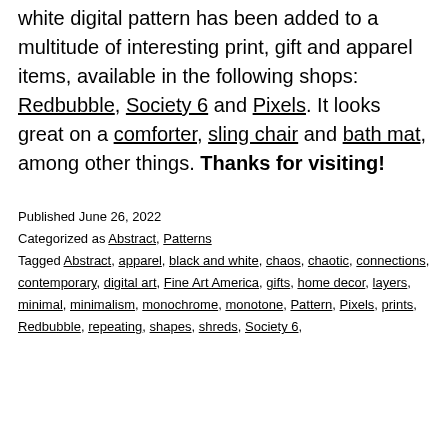white digital pattern has been added to a multitude of interesting print, gift and apparel items, available in the following shops: Redbubble, Society 6 and Pixels. It looks great on a comforter, sling chair and bath mat, among other things. Thanks for visiting!
Published June 26, 2022
Categorized as Abstract, Patterns
Tagged Abstract, apparel, black and white, chaos, chaotic, connections, contemporary, digital art, Fine Art America, gifts, home decor, layers, minimal, minimalism, monochrome, monotone, Pattern, Pixels, prints, Redbubble, repeating, shapes, shreds, Society 6,